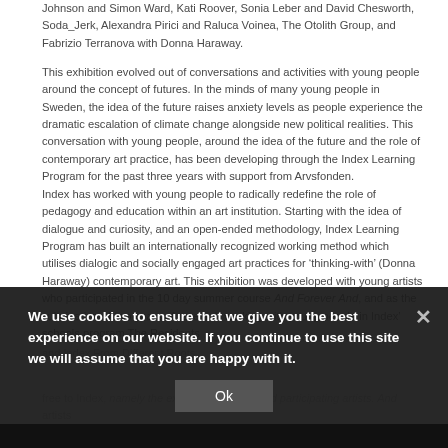Johnson and Simon Ward, Kati Roover, Sonia Leber and David Chesworth, Soda_Jerk, Alexandra Pirici and Raluca Voinea, The Otolith Group, and Fabrizio Terranova with Donna Haraway.
This exhibition evolved out of conversations and activities with young people around the concept of futures. In the minds of many young people in Sweden, the idea of the future raises anxiety levels as people experience the dramatic escalation of climate change alongside new political realities. This conversation with young people, around the idea of the future and the role of contemporary art practice, has been developing through the Index Learning Program for the past three years with support from Arvsfonden.
Index has worked with young people to radically redefine the role of pedagogy and education within an art institution. Starting with the idea of dialogue and curiosity, and an open-ended methodology, Index Learning Program has built an internationally recognized working method which utilises dialogic and socially engaged art practices for 'thinking-with' (Donna Haraway) contemporary art. This exhibition was developed with young artists who participated in the 10 day summer course And Forever And, and as the culmination of two years of research working with young people in Index' schools program The Residents
[Figure (screenshot): Cookie consent overlay banner with dark background: 'We use cookies to ensure that we give you the best experience on our website. If you continue to use this site we will assume that you are happy with it.' with an Ok button and X close button.]